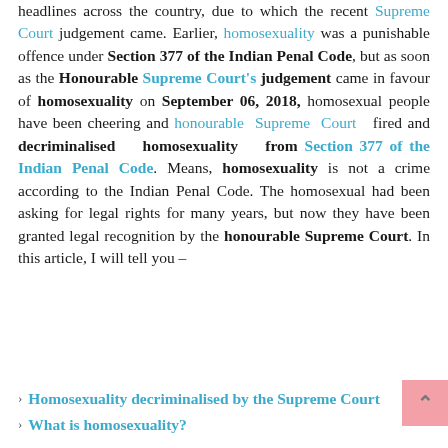headlines across the country, due to which the recent Supreme Court judgement came. Earlier, homosexuality was a punishable offence under Section 377 of the Indian Penal Code, but as soon as the Honourable Supreme Court's judgement came in favour of homosexuality on September 06, 2018, homosexual people have been cheering and honourable Supreme Court fired and decriminalised homosexuality from Section 377 of the Indian Penal Code. Means, homosexuality is not a crime according to the Indian Penal Code. The homosexual had been asking for legal rights for many years, but now they have been granted legal recognition by the honourable Supreme Court. In this article, I will tell you –
Homosexuality decriminalised by the Supreme Court
What is homosexuality?